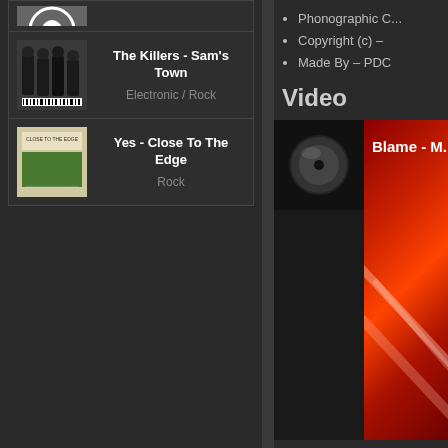[Figure (screenshot): Partial album thumbnail at top of left column]
The Killers - Sam's Town
Electronic / Rock
Yes - Close To The Edge
Rock
Phonographic C...
Copyright (c) –
Made By – PDC
Video
[Figure (screenshot): Video thumbnail showing Blame - M... with red background and circular icon]